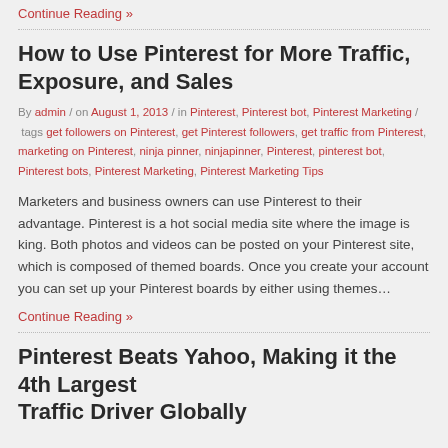Continue Reading »
How to Use Pinterest for More Traffic, Exposure, and Sales
By admin / on August 1, 2013 / in Pinterest, Pinterest bot, Pinterest Marketing / tags get followers on Pinterest, get Pinterest followers, get traffic from Pinterest, marketing on Pinterest, ninja pinner, ninjapinner, Pinterest, pinterest bot, Pinterest bots, Pinterest Marketing, Pinterest Marketing Tips
Marketers and business owners can use Pinterest to their advantage. Pinterest is a hot social media site where the image is king. Both photos and videos can be posted on your Pinterest site, which is composed of themed boards. Once you create your account you can set up your Pinterest boards by either using themes…
Continue Reading »
Pinterest Beats Yahoo, Making it the 4th Largest Traffic Driver Globally